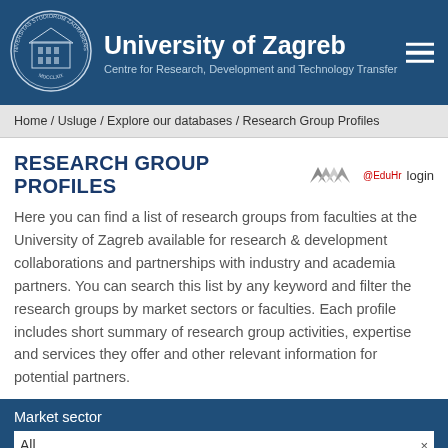[Figure (logo): University of Zagreb circular seal/crest logo in white on dark blue background]
University of Zagreb
Centre for Research, Development and Technology Transfer
Home / Usluge / Explore our databases / Research Group Profiles
RESEARCH GROUP PROFILES
[Figure (logo): AAI@EduHr logo with stylized M letters in grey, followed by @EduHr text and login link]
Here you can find a list of research groups from faculties at the University of Zagreb available for research & development collaborations and partnerships with industry and academia partners. You can search this list by any keyword and filter the research groups by market sectors or faculties. Each profile includes short summary of research group activities, expertise and services they offer and other relevant information for potential partners.
Market sector
All